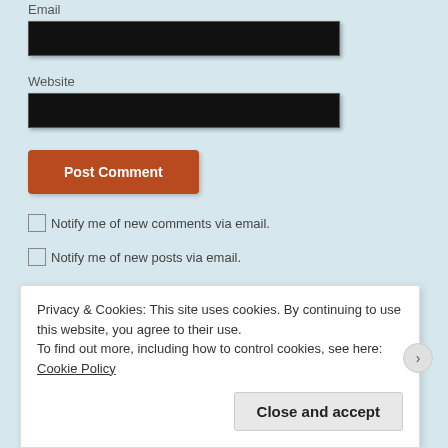Email
[Figure (other): Black input field for Email]
Website
[Figure (other): Black input field for Website]
Post Comment
Notify me of new comments via email.
Notify me of new posts via email.
Privacy & Cookies: This site uses cookies. By continuing to use this website, you agree to their use. To find out more, including how to control cookies, see here: Cookie Policy
Close and accept